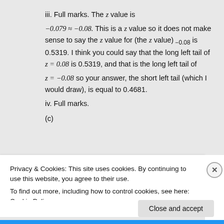iii. Full marks. The z value is −0.079 ≈ −0.08. This is a z value so it does not make sense to say the z value for (the z value) −0.08 is 0.5319. I think you could say that the long left tail of z = 0.08 is 0.5319, and that is the long left tail of z = −0.08 so your answer, the short left tail (which I would draw), is equal to 0.4681.
iv. Full marks.
(c)
Privacy & Cookies: This site uses cookies. By continuing to use this website, you agree to their use. To find out more, including how to control cookies, see here: Cookie Policy
Close and accept